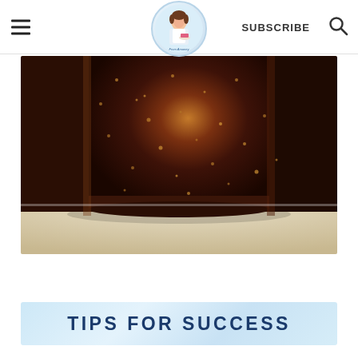Menu | From Amaney (logo) | SUBSCRIBE | Search
[Figure (photo): Close-up of a glass square jar filled with dark brown chunky substance (possibly fig jam or chutney) with visible seeds/specks, sitting on a white surface. The jar is viewed from a low angle showing the bottom portion.]
TIPS FOR SUCCESS